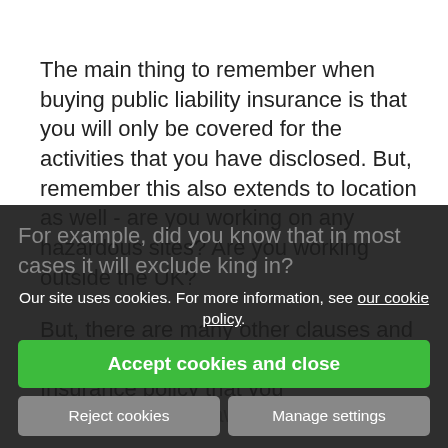The main thing to remember when buying public liability insurance is that you will only be covered for the activities that you have disclosed.  But, remember this also extends to location as well - are you working on any hazardous sites?  Are you working outside the UK?
But, there are many other clauses and restrictions on a standard public liability Insurance policy that you need to be made aware of.
For example, did you know that in most cases it will exclude [text hidden] rking in? So, if you [text hidden] itioning unit and you accidentally damage it, you might not be covered [text hidden] o certain policies that will automatically extend cover a...
Our site uses cookies. For more information, see our cookie policy.
Accept cookies and close
Reject cookies
Manage settings